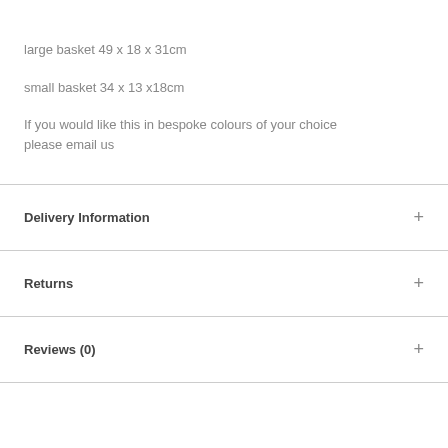large basket 49 x 18 x 31cm
small basket 34 x 13 x18cm
If you would like this in bespoke colours of your choice please email us
Delivery Information
Returns
Reviews (0)